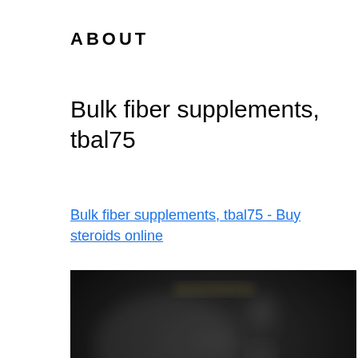ABOUT
Bulk fiber supplements, tbal75
Bulk fiber supplements, tbal75 - Buy steroids online
[Figure (photo): Dark blurred photo showing supplement product containers with colorful labels at the bottom, and a blurred figure in background, set against a dark background.]